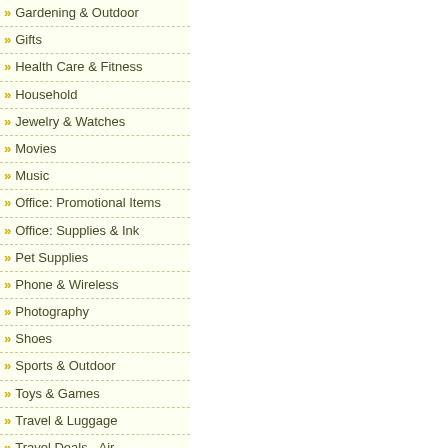» Gardening & Outdoor
» Gifts
» Health Care & Fitness
» Household
» Jewelry & Watches
» Movies
» Music
» Office: Promotional Items
» Office: Supplies & Ink
» Pet Supplies
» Phone & Wireless
» Photography
» Shoes
» Sports & Outdoor
» Toys & Games
» Travel & Luggage
» Travel Deals - Air
» Travel Deals - Car
» Travel Deals - Hotel
» Travel Deals - Vacation
» Web Services